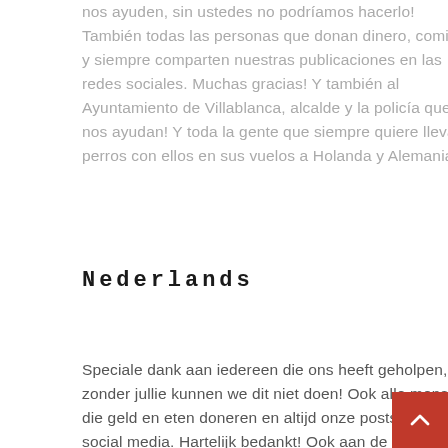nos ayuden, sin ustedes no podríamos hacerlo! También todas las personas que donan dinero, comida y siempre comparten nuestras publicaciones en las redes sociales. Muchas gracias! Y también al Ayuntamiento de Villablanca, alcalde y la policía que nos ayudan! Y toda la gente que siempre quiere llevar perros con ellos en sus vuelos a Holanda y Alemania.
Nederlands
Speciale dank aan iedereen die ons heeft geholpen, zonder jullie kunnen we dit niet doen! Ook alle mensen die geld en eten doneren en altijd onze posts delen op social media. Hartelijk bedankt! Ook aan de